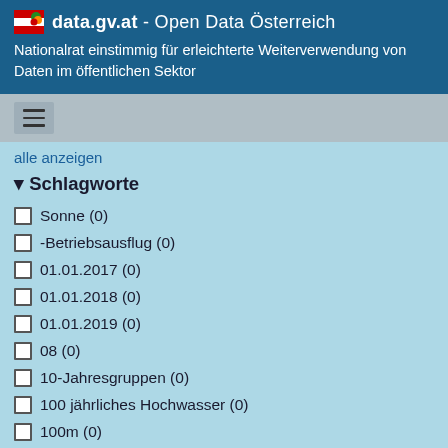data.gv.at - Open Data Österreich
Nationalrat einstimmig für erleichterte Weiterverwendung von Daten im öffentlichen Sektor
alle anzeigen
▾ Schlagworte
☐ Sonne (0)
☐ -Betriebsausflug (0)
☐ 01.01.2017 (0)
☐ 01.01.2018 (0)
☐ 01.01.2019 (0)
☐ 08 (0)
☐ 10-Jahresgruppen (0)
☐ 100 jährliches Hochwasser (0)
☐ 100m (0)
☐ 1010 (0)
alle anzeigen